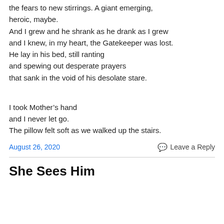the fears to new stirrings. A giant emerging,
heroic, maybe.
And I grew and he shrank as he drank as I grew
and I knew, in my heart, the Gatekeeper was lost.
He lay in his bed, still ranting
and spewing out desperate prayers
that sank in the void of his desolate stare.
I took Mother’s hand
and I never let go.
The pillow felt soft as we walked up the stairs.
August 26, 2020
Leave a Reply
She Sees Him